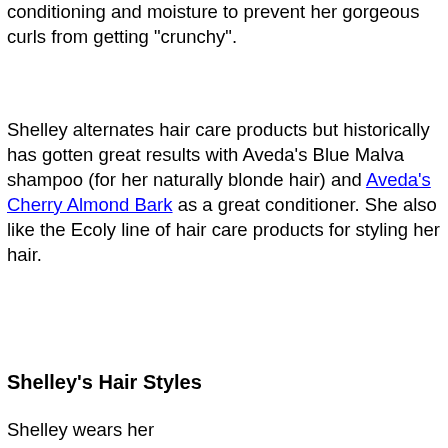conditioning and moisture to prevent her gorgeous curls from getting "crunchy".
Shelley alternates hair care products but historically has gotten great results with Aveda's Blue Malva shampoo (for her naturally blonde hair) and Aveda's Cherry Almond Bark as a great conditioner. She also like the Ecoly line of hair care products for styling her hair.
Shelley's Hair Styles
Shelley wears her